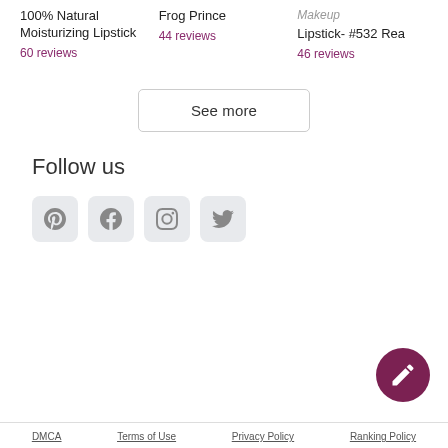100% Natural Moisturizing Lipstick
60 reviews
Frog Prince
44 reviews
Makeup
Lipstick- #532 Rea
46 reviews
See more
Follow us
[Figure (other): Social media icons: Pinterest, Facebook, Instagram, Twitter]
[Figure (other): Floating action button with edit/pencil icon]
DMCA   Terms of Use   Privacy Policy   Ranking Policy